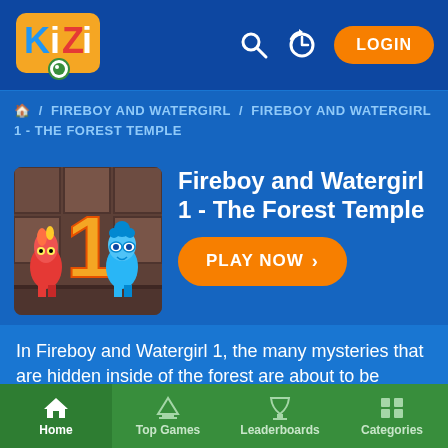[Figure (screenshot): Kizi logo - cartoon monster with big eye]
FIREBOY AND WATERGIRL / FIREBOY AND WATERGIRL 1 - THE FOREST TEMPLE
Fireboy and Watergirl 1 - The Forest Temple
[Figure (screenshot): Game thumbnail showing Fireboy (red flame character) and Watergirl (blue character) in front of a temple with a large golden number 1]
In Fireboy and Watergirl 1, the many mysteries that are hidden inside of the forest are about to be revealed. In Fireboy and Watergirl the Forest Temple, the two elemental friends decided to discover the mysterious temple deep in the woods
Home  Top Games  Leaderboards  Categories